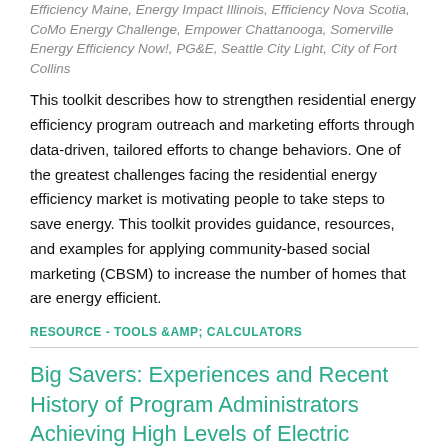Efficiency Maine, Energy Impact Illinois, Efficiency Nova Scotia, CoMo Energy Challenge, Empower Chattanooga, Somerville Energy Efficiency Now!, PG&E, Seattle City Light, City of Fort Collins
This toolkit describes how to strengthen residential energy efficiency program outreach and marketing efforts through data-driven, tailored efforts to change behaviors. One of the greatest challenges facing the residential energy efficiency market is motivating people to take steps to save energy. This toolkit provides guidance, resources, and examples for applying community-based social marketing (CBSM) to increase the number of homes that are energy efficient.
RESOURCE - TOOLS &AMP; CALCULATORS
Big Savers: Experiences and Recent History of Program Administrators Achieving High Levels of Electric Savings
Author(s)